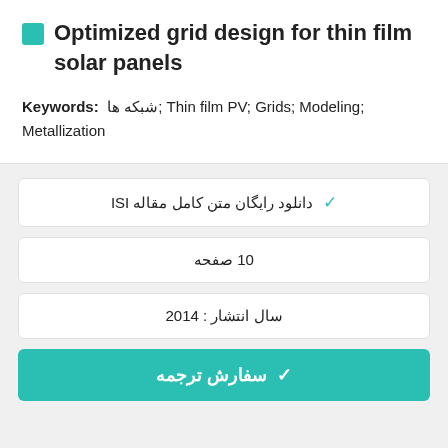Optimized grid design for thin film solar panels
Keywords: شبکه ها; Thin film PV; Grids; Modeling; Metallization
✓ دانلود رایگان متن کامل مقاله ISI
10 صفحه
سال انتشار : 2014
✓ سفارش ترجمه